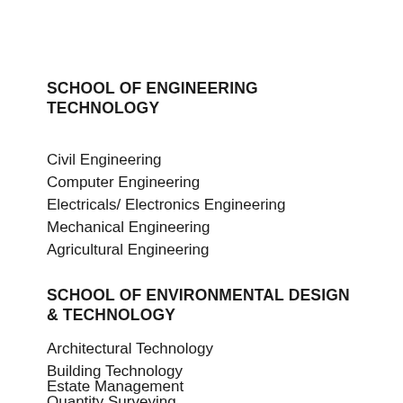SCHOOL OF ENGINEERING TECHNOLOGY
Civil Engineering
Computer Engineering
Electricals/ Electronics Engineering
Mechanical Engineering
Agricultural Engineering
SCHOOL OF ENVIRONMENTAL DESIGN & TECHNOLOGY
Architectural Technology
Building Technology
Estate Management
Quantity Surveying